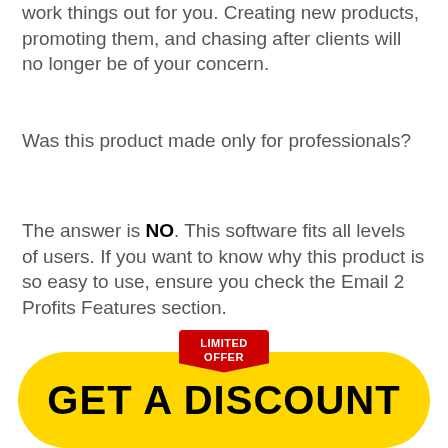work things out for you. Creating new products, promoting them, and chasing after clients will no longer be of your concern.
Was this product made only for professionals?
The answer is NO. This software fits all levels of users. If you want to know why this product is so easy to use, ensure you check the Email 2 Profits Features section.
[Figure (infographic): Yellow rounded rectangle button with bold black text 'GET A DISCOUNT' and a red pentagon badge on top reading 'LIMITED OFFER']